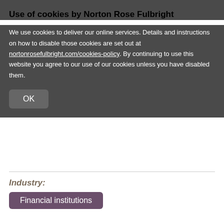Use of cookies by Norton Rose Fulbright
We use cookies to deliver our online services. Details and instructions on how to disable those cookies are set out at nortonrosefulbright.com/cookies-policy. By continuing to use this website you agree to our use of our cookies unless you have disabled them.
OK
Industry:
Financial institutions
Practice area:
LinkedIn Twitter Facebook Print icons, scroll-to-top button